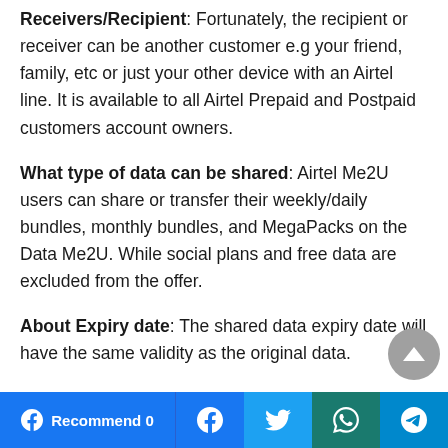Receivers/Recipient: Fortunately, the recipient or receiver can be another customer e.g your friend, family, etc or just your other device with an Airtel line. It is available to all Airtel Prepaid and Postpaid customers account owners.
What type of data can be shared: Airtel Me2U users can share or transfer their weekly/daily bundles, monthly bundles, and MegaPacks on the Data Me2U. While social plans and free data are excluded from the offer.
About Expiry date: The shared data expiry date will have the same validity as the original data.
Recommend 0 | Facebook | Twitter | WhatsApp | Telegram